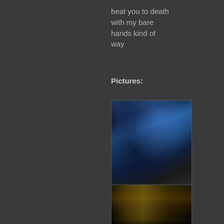beat you to death with my bare hands kind of way
Pictures:
[Figure (photo): Dark blue nighttime photo looking up at trees and a building, atmospheric and moody]
[Figure (photo): Nighttime photo of a building exterior with lights, dark tones with warm highlights]